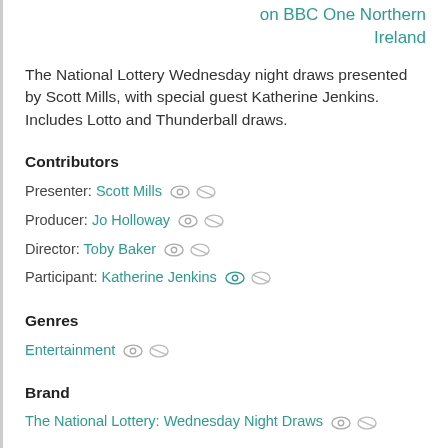on BBC One Northern Ireland
The National Lottery Wednesday night draws presented by Scott Mills, with special guest Katherine Jenkins. Includes Lotto and Thunderball draws.
Contributors
Presenter: Scott Mills
Producer: Jo Holloway
Director: Toby Baker
Participant: Katherine Jenkins
Genres
Entertainment
Brand
The National Lottery: Wednesday Night Draws